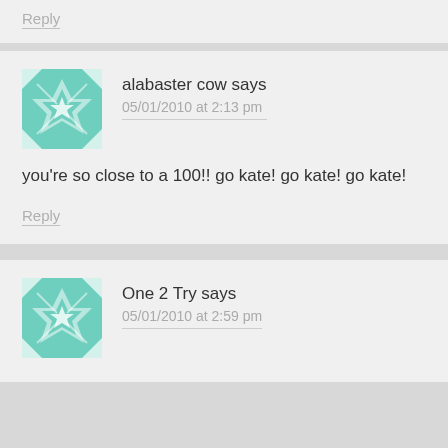Reply
alabaster cow says
05/01/2010 at 2:13 pm
you're so close to a 100!! go kate! go kate! go kate!
Reply
One 2 Try says
05/01/2010 at 2:59 pm